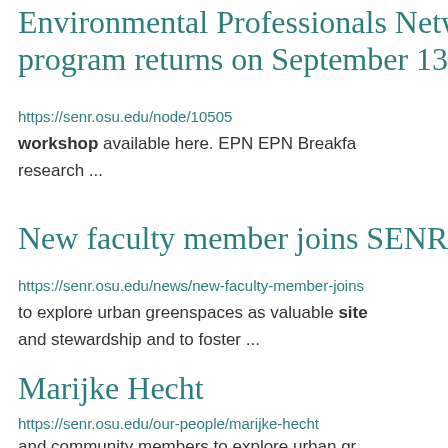Environmental Professionals Network program returns on September 13
https://senr.osu.edu/node/10505
workshop available here.  EPN EPN Breakfast research ...
New faculty member joins SENR
https://senr.osu.edu/news/new-faculty-member-joins-
to explore urban greenspaces as valuable site and stewardship and to foster ...
Marijke Hecht
https://senr.osu.edu/our-people/marijke-hecht
and community members to explore urban gr